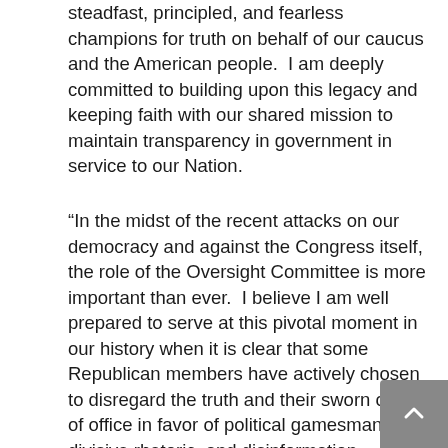steadfast, principled, and fearless champions for truth on behalf of our caucus and the American people.  I am deeply committed to building upon this legacy and keeping faith with our shared mission to maintain transparency in government in service to our Nation.
“In the midst of the recent attacks on our democracy and against the Congress itself, the role of the Oversight Committee is more important than ever.  I believe I am well prepared to serve at this pivotal moment in our history when it is clear that some Republican members have actively chosen to disregard the truth and their sworn oaths of office in favor of political gamesmanship, divisive rhetoric, and disinformation regarding the 2020 election, the January 6th insurrection, misconduct by former President Trump, and other issues of critical concern to the American people.